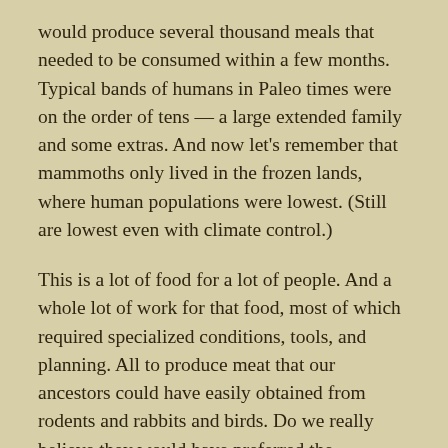would produce several thousand meals that needed to be consumed within a few months. Typical bands of humans in Paleo times were on the order of tens — a large extended family and some extras. And now let's remember that mammoths only lived in the frozen lands, where human populations were lowest. (Still are lowest even with climate control.)
This is a lot of food for a lot of people. And a whole lot of work for that food, most of which required specialized conditions, tools, and planning. All to produce meat that our ancestors could have easily obtained from rodents and rabbits and birds. Do we really believe they would have preferred the mammoth headache? This seems unlikely to me. This seems like a story that is not based in reality at all. This has all the markings of A Man